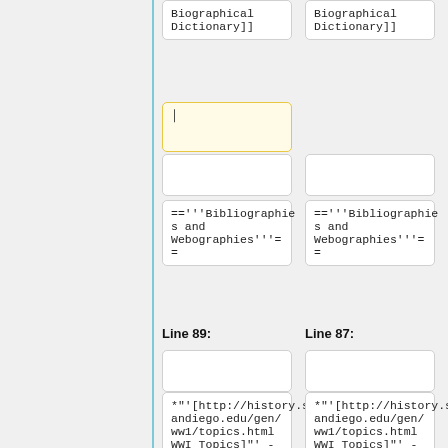Biographical Dictionary]]
Biographical Dictionary]]
=='''Bibliographies and Webographies'''==
=='''Bibliographies and Webographies'''==
Line 89:
Line 87:
*"'[http://history.sandiego.edu/gen/ww1/topics.html WWI Topics]"' - from U.C. San Diego History Department.
*"'[http://history.sandiego.edu/gen/ww1/topics.html WWI Topics]"' - from U.C. San Diego History Department.